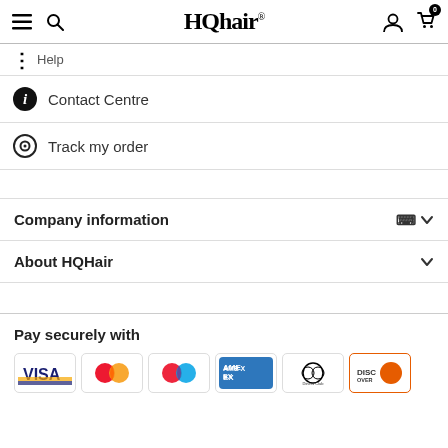HQhair
Help
Contact Centre
Track my order
Company information
About HQHair
Pay securely with
[Figure (logo): Payment method logos: Visa, Mastercard, Maestro, American Express, Diners Club, Discover]